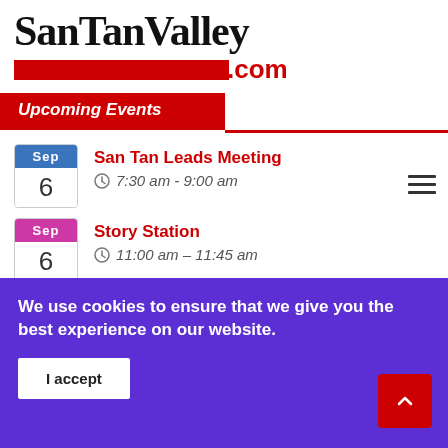SanTanValley.com
Upcoming Events
San Tan Leads Meeting | Sep 6 | 7:30 am - 9:00 am
Story Station | Sep 6 | 11:00 am - 11:45 am
San Tan Seniors: Game Day | Sep 6
We use cookies to ensure that we give you the best experience on our website.